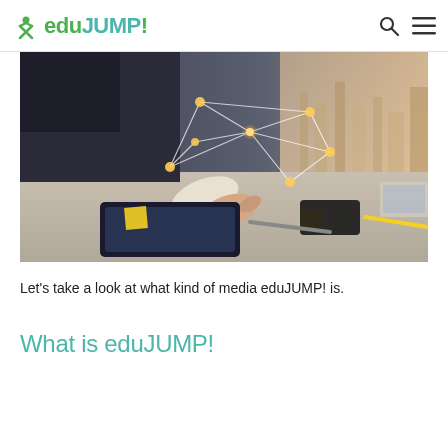eduJUMP!
[Figure (photo): A person in a business suit pointing at a glowing digital network overlay on a tablet device, with office supplies, sticky notes, a smartphone and laptop visible on a desk background with a city skyline.]
Let's take a look at what kind of media eduJUMP! is.
What is eduJUMP!